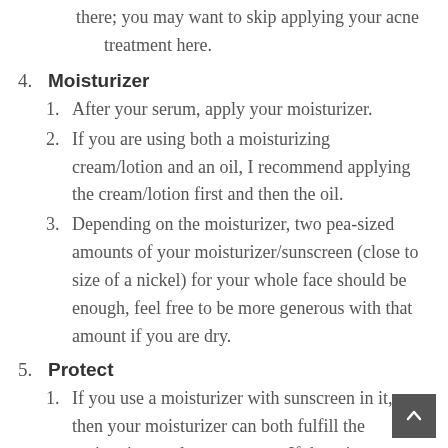there, you may want to skip applying your acne treatment here.
4. Moisturizer
1. After your serum, apply your moisturizer.
2. If you are using both a moisturizing cream/lotion and an oil, I recommend applying the cream/lotion first and then the oil.
3. Depending on the moisturizer, two pea-sized amounts of your moisturizer/sunscreen (close to size of a nickel) for your whole face should be enough, feel free to be more generous with that amount if you are dry.
5. Protect
1. If you use a moisturizer with sunscreen in it, then your moisturizer can both fulfill the moisturizer and protect steps. If there is no sunscreen in your moisturizer, then you will